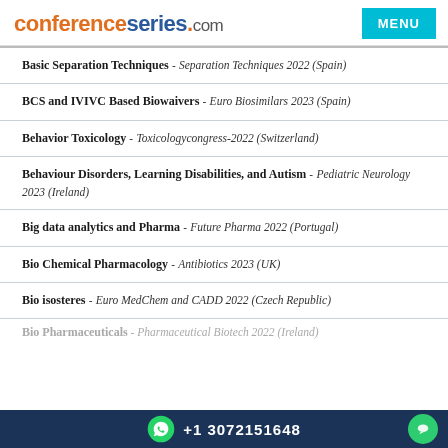conferenceseries.com
Basic Separation Techniques - Separation Techniques 2022 (Spain)
BCS and IVIVC Based Biowaivers - Euro Biosimilars 2023 (Spain)
Behavior Toxicology - Toxicologycongress-2022 (Switzerland)
Behaviour Disorders, Learning Disabilities, and Autism - Pediatric Neurology 2023 (Ireland)
Big data analytics and Pharma - Future Pharma 2022 (Portugal)
Bio Chemical Pharmacology - Antibiotics 2023 (UK)
Bio isosteres - Euro MedChem and CADD 2022 (Czech Republic)
Bio Pharmaceuticals - Pharmaceutical Biotech 2022 (Ireland)
+1 3072151648